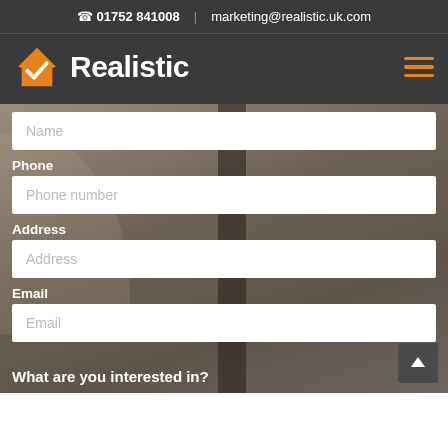📞 01752 841008  |  marketing@realistic.uk.com
Realistic
Name
Phone
Phone number
Address
Address
Email
Email
What are you interested in?